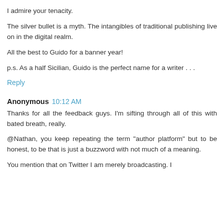I admire your tenacity.
The silver bullet is a myth. The intangibles of traditional publishing live on in the digital realm.
All the best to Guido for a banner year!
p.s. As a half Sicilian, Guido is the perfect name for a writer . . .
Reply
Anonymous  10:12 AM
Thanks for all the feedback guys. I'm sifting through all of this with bated breath, really.
@Nathan, you keep repeating the term "author platform" but to be honest, to be that is just a buzzword with not much of a meaning.
You mention that on Twitter I am merely broadcasting. I